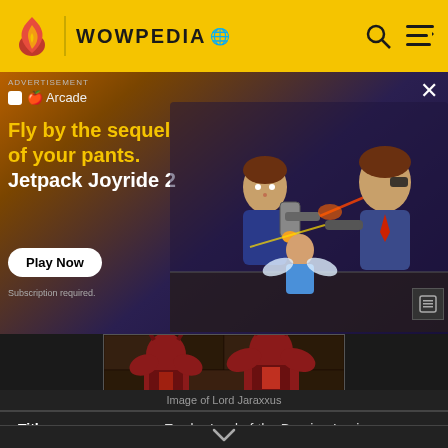WOWPEDIA
[Figure (screenshot): Advertisement for Jetpack Joyride 2 on Apple Arcade showing animated characters flying with jetpacks firing lasers. Text: 'Fly by the sequel of your pants. Jetpack Joyride 2'. Button: 'Play Now'. Small text: 'Subscription required.']
[Figure (screenshot): In-game screenshot of Lord Jaraxxus, a demon character standing in a stone dungeon environment]
Image of Lord Jaraxxus
| Field | Value |
| --- | --- |
| Title | Eredar Lord of the Burning Legion |
| Gender | Male |
| Race | Man'ari eredar (Demon) |